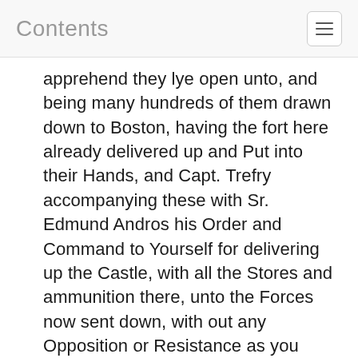Contents
apprehend they lye open unto, and being many hundreds of them drawn down to Boston, having the fort here already delivered up and Put into their Hands, and Capt. Trefry accompanying these with Sr. Edmund Andros his Order and Command to Yourself for delivering up the Castle, with all the Stores and ammunition there, unto the Forces now sent down, with out any Opposition or Resistance as you have regard unto you own or company's Safety; Upon the Refusal whereof you will necessarily expose yourself amd men to the Force of the people, Promising unto you that upon your Peaceable Submission, there shall no Violence be offered to yourselfes or Company in Person or Estate.